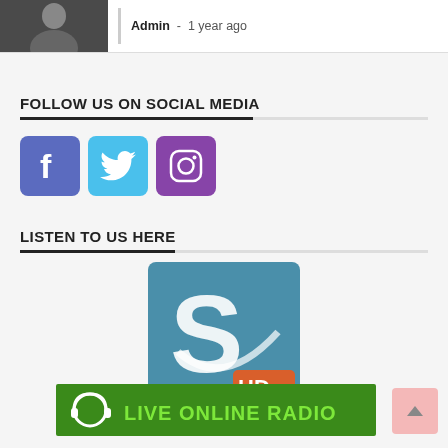[Figure (photo): Person in suit at top left, with Admin - 1 year ago metadata text]
Admin - 1 year ago
FOLLOW US ON SOCIAL MEDIA
[Figure (infographic): Three social media icons: Facebook (blue-purple), Twitter (light blue), Instagram (purple)]
LISTEN TO US HERE
[Figure (logo): S HD radio logo - blue square with stylized S and HD badge in orange]
[Figure (logo): Live Online Radio banner - green background with headphone icon and text LIVE ONLINE RADIO]